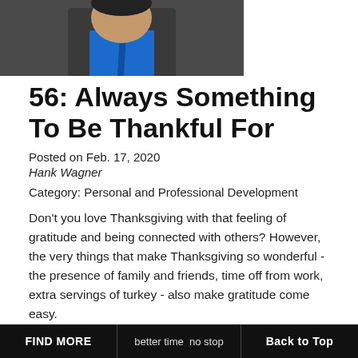[Figure (photo): Headshot of a man in a dark suit jacket and blue shirt/tie, cropped at the top of the page]
56: Always Something To Be Thankful For
Posted on Feb. 17, 2020
Hank Wagner
Category: Personal and Professional Development
Don't you love Thanksgiving with that feeling of gratitude and being connected with others? However, the very things that make Thanksgiving so wonderful - the presence of family and friends, time off from work, extra servings of turkey - also make gratitude come easy.
Given all the negative news and sometimes instability we
FIND MORE   better time   Back to Top   no stop